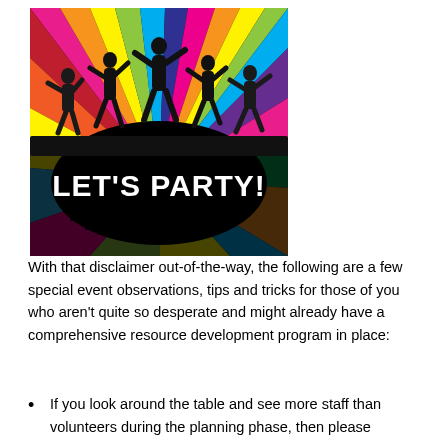[Figure (illustration): Colorful party illustration with silhouettes of people dancing against rainbow sunburst rays. Bold white text at bottom reads LET'S PARTY!]
With that disclaimer out-of-the-way, the following are a few special event observations, tips and tricks for those of you who aren't quite so desperate and might already have a comprehensive resource development program in place:
If you look around the table and see more staff than volunteers during the planning phase, then please